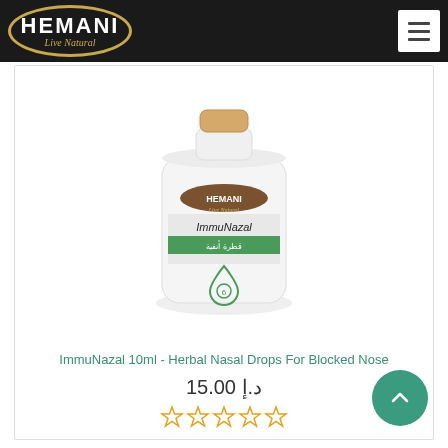[Figure (logo): Hemani Live Natural logo — oval black shape with gold border, white HEMANI text and gold italic 'Live Natural' below]
[Figure (photo): White cylindrical bottle of Hemani ImmuNazal 10ml Herbal Nasal Drops with green label stripe and drop logo]
ImmuNazal 10ml - Herbal Nasal Drops For Blocked Nose
د.إ 15.00
[Figure (other): Five empty/outline star rating icons in orange]